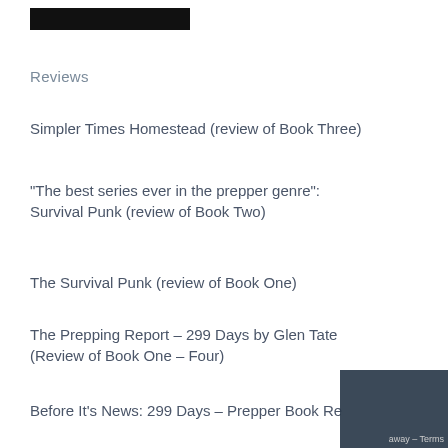Reviews
Simpler Times Homestead (review of Book Three)
“The best series ever in the prepper genre”: Survival Punk (review of Book Two)
The Survival Punk (review of Book One)
The Prepping Report – 299 Days by Glen Tate (Review of Book One – Four)
Before It’s News: 299 Days – Prepper Book Re…